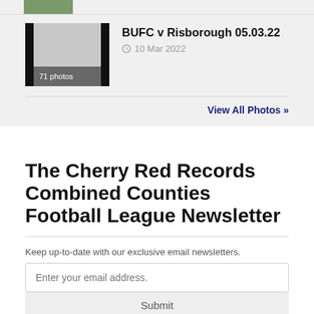[Figure (photo): Thumbnail image strip at top (partial view of photo gallery item with green grass background)]
[Figure (photo): Photo album thumbnail showing 71 photos for BUFC v Risborough 05.03.22 match]
BUFC v Risborough 05.03.22
10 Mar 2022
View All Photos »
The Cherry Red Records Combined Counties Football League Newsletter
Keep up-to-date with our exclusive email newsletters.
Enter your email address.
Submit